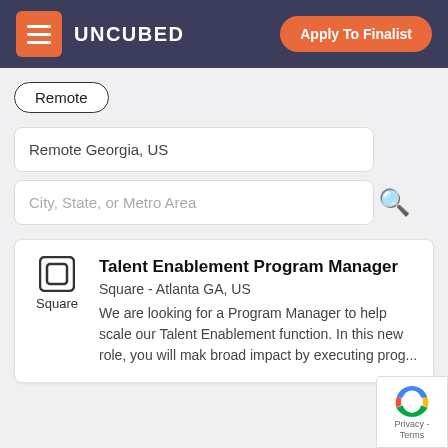UNCUBED — Apply To Finalist
Remote
Remote Georgia, US
City, State, or Metro Area
Talent Enablement Program Manager
Square - Atlanta GA, US
We are looking for a Program Manager to help scale our Talent Enablement function. In this new role, you will mak broad impact by executing prog...